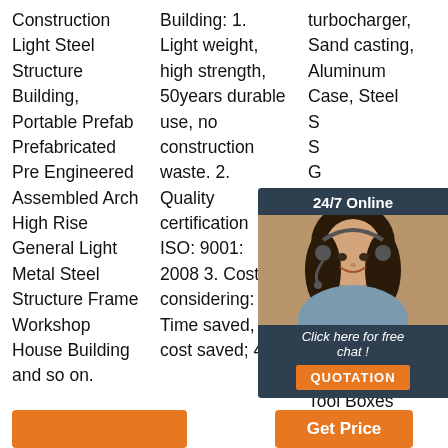Construction Light Steel Structure Building, Portable Prefab Prefabricated Pre Engineered Assembled Arch High Rise General Light Metal Steel Structure Frame Workshop House Building and so on.
Building: 1. Light weight, high strength, 50years durable use, no construction waste. 2. Quality certification ISO: 9001: 2008 3. Cost considering: Time saved, cost saved; 4.
turbocharger, Sand casting, Aluminum Case, Steel Sand casting, General Aluminum MOLD Rubber Teeth, Aluminum Cases and Boxes, Tool Boxes
[Figure (other): 24/7 Online chat widget with a female customer service representative wearing a headset, with 'Click here for free chat!' text and a QUOTATION button]
Get Price